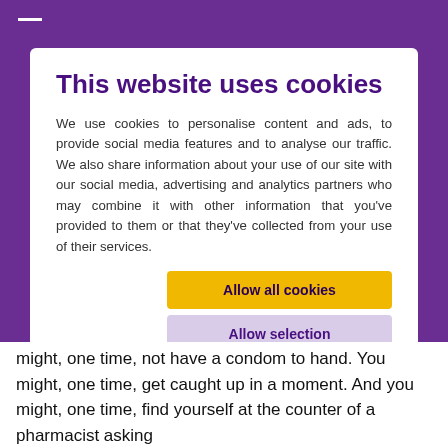[Figure (screenshot): Screenshot of a cookie consent modal overlay on a purple-background website (allaOne). The modal has a white card with title 'This website uses cookies', explanatory text, three buttons (Allow all cookies, Allow selection, Use necessary cookies only), and checkboxes for Necessary, Preferences, Statistics, Marketing with a Show details dropdown.]
This website uses cookies
We use cookies to personalise content and ads, to provide social media features and to analyse our traffic. We also share information about your use of our site with our social media, advertising and analytics partners who may combine it with other information that you've provided to them or that they've collected from your use of their services.
Allow all cookies
Allow selection
Use necessary cookies only
Necessary   Preferences   Statistics   Marketing   Show details
might, one time, not have a condom to hand. You might, one time, get caught up in a moment. And you might, one time, find yourself at the counter of a pharmacist asking